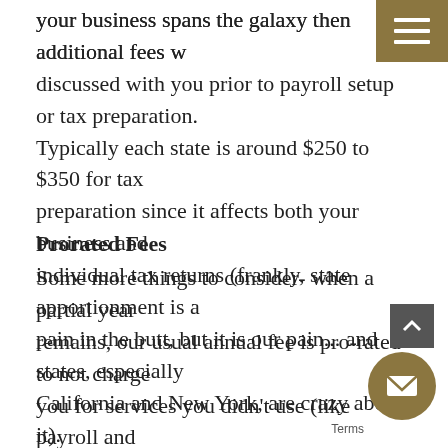your business spans the galaxy then additional fees will be discussed with you prior to payroll setup or tax preparation. Typically each state is around $250 to $350 for tax preparation since it affects both your business and individual tax returns (frankly, state apportionment is a pain in the butt, but it is our pain... and states, especially California and New York, are crazy about it).
Prorated Fees
Some more things to consider- when a partial year remains, our usual annual fee is pro-rated to not charge you for services you didn't use (like payroll and consultation). However, a large chunk of our annual fee is tax preparation which is typically a built-in fixed amount of $2,000 (both business entity and individual tax returns). Whether we onboard you in January, July or December, we have to prepare a full year tax return. This increases the monthly fee for the remaining months of 2022 but the monthly fee will later decrease in January of 2023 to